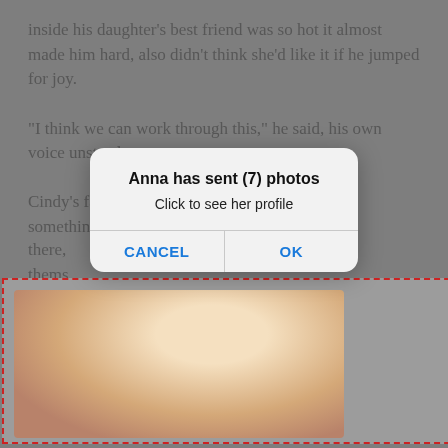inside his daughter's best friend was so hot it almost made him hard, also didn't think she'd like it if he jumped for joy.
“I think we can work through this,” he said, his own voice unsteady.
Cindy’s face began to move. It was almost like something had invad… and there… make thems…
[Figure (screenshot): iOS-style alert dialog overlay: title 'Anna has sent (7) photos', subtitle 'Click to see her profile', with CANCEL and OK buttons in blue]
“You… …ightly was it controlled.
[Figure (photo): Ad banner with dashed red border containing a photo of a blonde woman's neck/shoulder profile, with an X close button]
…fied that…ed to…ot want to…bout doing